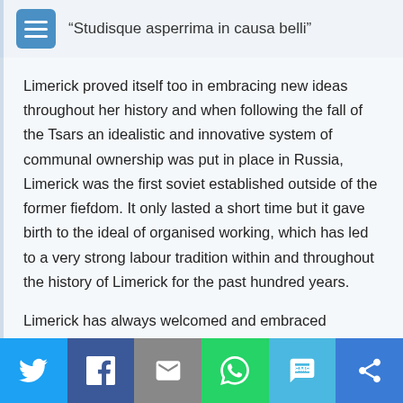“Studisque asperrima in causa belli”
Limerick proved itself too in embracing new ideas throughout her history and when following the fall of the Tsars an idealistic and innovative system of communal ownership was put in place in Russia, Limerick was the first soviet established outside of the former fiefdom. It only lasted a short time but it gave birth to the ideal of organised working, which has led to a very strong labour tradition within and throughout the history of Limerick for the past hundred years.
Limerick has always welcomed and embraced
Social share bar: Twitter, Facebook, Email, WhatsApp, SMS, Share